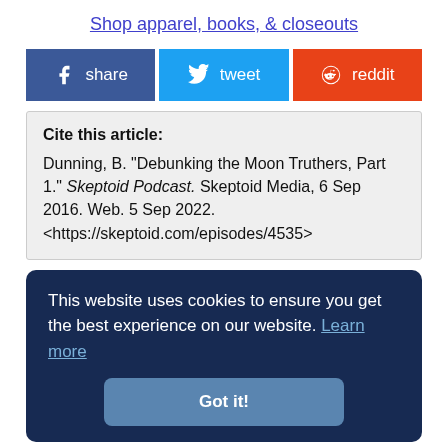Shop apparel, books, & closeouts
[Figure (other): Social share buttons: Facebook share, Twitter tweet, Reddit reddit]
Cite this article:
Dunning, B. "Debunking the Moon Truthers, Part 1." Skeptoid Podcast. Skeptoid Media, 6 Sep 2016. Web. 5 Sep 2022. <https://skeptoid.com/episodes/4535>
This website uses cookies to ensure you get the best experience on our website. Learn more
Got it!